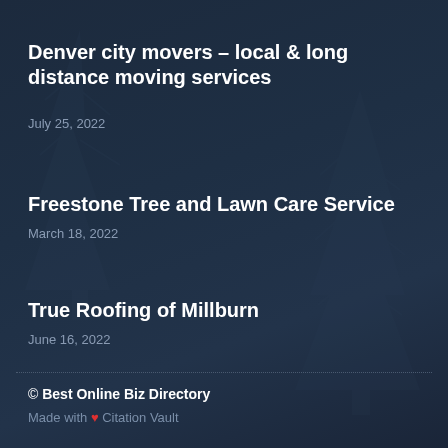Denver city movers – local & long distance moving services
July 25, 2022
Freestone Tree and Lawn Care Service
March 18, 2022
True Roofing of Millburn
June 16, 2022
© Best Online Biz Directory
Made with ❤ Citation Vault